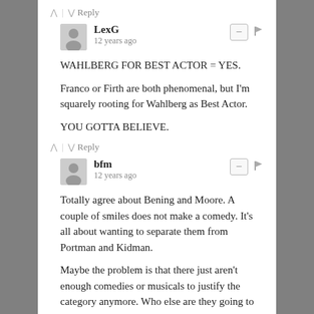↑ | ↓  Reply
LexG — 12 years ago
WAHLBERG FOR BEST ACTOR = YES.

Franco or Firth are both phenomenal, but I'm squarely rooting for Wahlberg as Best Actor.

YOU GOTTA BELIEVE.
↑ | ↓  Reply
bfm — 12 years ago
Totally agree about Bening and Moore. A couple of smiles does not make a comedy. It's all about wanting to separate them from Portman and Kidman.

Maybe the problem is that there just aren't enough comedies or musicals to justify the category anymore. Who else are they going to nominate? Katherine Heigl?